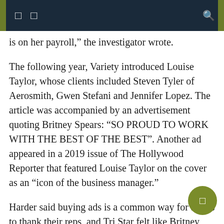Navigation bar with menu icons and search icon
is on her payroll,” the investigator wrote.
The following year, Variety introduced Louise Taylor, whose clients included Steven Tyler of Aerosmith, Gwen Stefani and Jennifer Lopez. The article was accompanied by an advertisement quoting Britney Spears: “SO PROUD TO WORK WITH THE BEST OF THE BEST”. Another ad appeared in a 2019 issue of The Hollywood Reporter that featured Louise Taylor on the cover as an “icon of the business manager.”
Harder said buying ads is a common way for artists to thank their reps, and Tri Star felt like Britney Spears signed on.
Tri Star’s work for the estate had extended beyond the traditional role of a business owner. For example, a Tri Star executive, Robin Greenhill, checked Britney Spears’ credit card and administered her medication, according to a